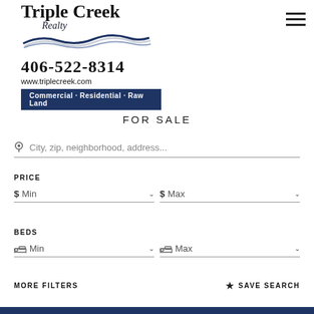[Figure (logo): Triple Creek Realty logo with wave graphic, phone number 406-522-8314, website www.triplecreek.com, and tagline badge]
FOR SALE
City, zip, neighborhood, address...
PRICE
$ Min
$ Max
BEDS
Min
Max
MORE FILTERS
SAVE SEARCH